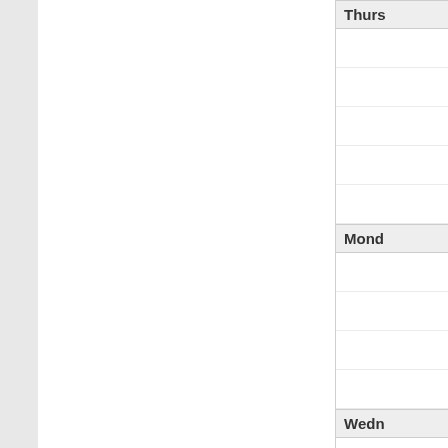| Thursday | Monday | Wednesday |
| --- | --- | --- |
|  |  |  |
|  |  |  |
|  |  |  |
|  |  |  |